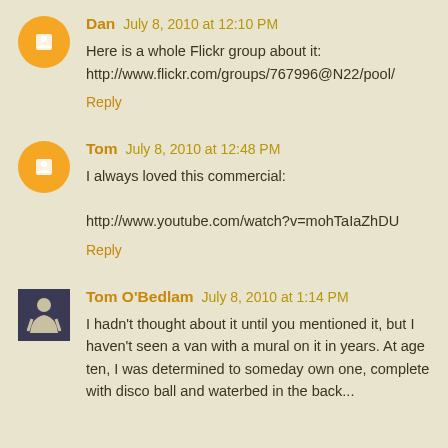Dan July 8, 2010 at 12:10 PM
Here is a whole Flickr group about it: http://www.flickr.com/groups/767996@N22/pool/
Reply
Tom July 8, 2010 at 12:48 PM
I always loved this commercial:

http://www.youtube.com/watch?v=mohTaIaZhDU
Reply
Tom O'Bedlam July 8, 2010 at 1:14 PM
I hadn't thought about it until you mentioned it, but I haven't seen a van with a mural on it in years. At age ten, I was determined to someday own one, complete with disco ball and waterbed in the back...